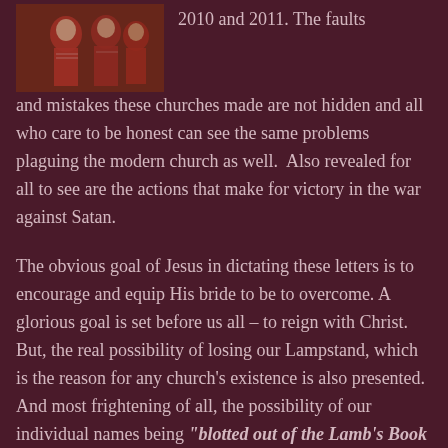[Figure (photo): Photo of people in red robes or garments, possibly a religious gathering]
2010 and 2011. The faults and mistakes these churches made are not hidden and all who care to be honest can see the same problems plaguing the modern church as well. Also revealed for all to see are the actions that make for victory in the war against Satan.

The obvious goal of Jesus in dictating these letters is to encourage and equip His bride to be to overcome. A glorious goal is set before us all – to reign with Christ. But, the real possibility of losing our Lampstand, which is the reason for any church's existence is also presented. And most frightening of all, the possibility of our individual names being "blotted out of the Lamb's Book of Life" is given as a warning to those who will not heed this message by the Head of the Church.